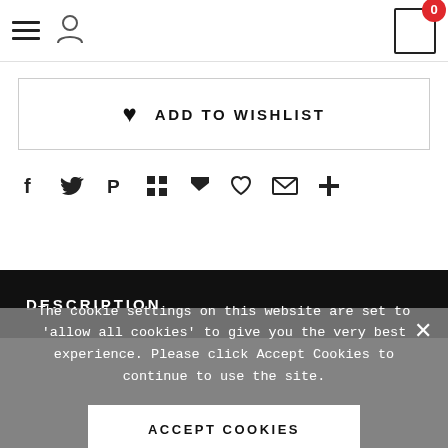[Figure (screenshot): Navigation bar with hamburger menu, user icon, and cart icon showing 0 items]
ADD TO WISHLIST
[Figure (infographic): Social share icons row: Facebook, Twitter, Pinterest, Grid, Pocket, Heart, Email, Plus]
DESCRIPTION
The cookie settings on this website are set to 'allow all cookies' to give you the very best experience. Please click Accept Cookies to continue to use the site.
ACCEPT COOKIES